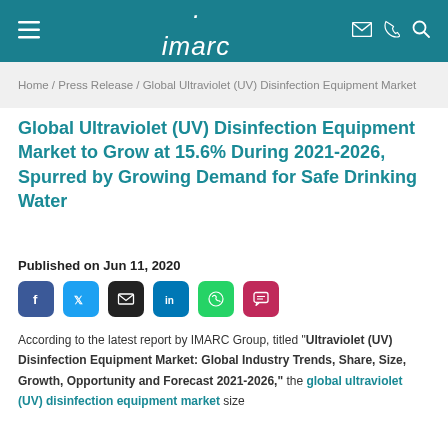imarc
Home / Press Release / Global Ultraviolet (UV) Disinfection Equipment Market
Global Ultraviolet (UV) Disinfection Equipment Market to Grow at 15.6% During 2021-2026, Spurred by Growing Demand for Safe Drinking Water
Published on Jun 11, 2020
[Figure (other): Social sharing buttons: Facebook, Twitter, Email, LinkedIn, WhatsApp, Comment]
According to the latest report by IMARC Group, titled "Ultraviolet (UV) Disinfection Equipment Market: Global Industry Trends, Share, Size, Growth, Opportunity and Forecast 2021-2026," the global ultraviolet (UV) disinfection equipment market size